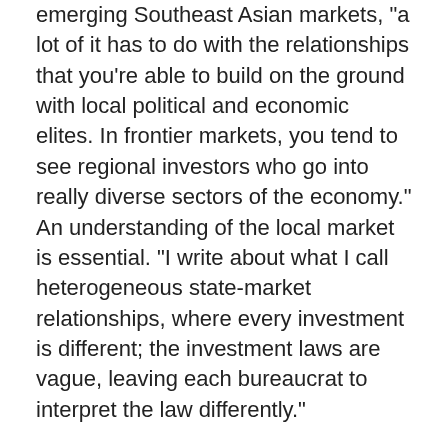emerging Southeast Asian markets, "a lot of it has to do with the relationships that you're able to build on the ground with local political and economic elites. In frontier markets, you tend to see regional investors who go into really diverse sectors of the economy." An understanding of the local market is essential. "I write about what I call heterogeneous state-market relationships, where every investment is different; the investment laws are vague, leaving each bureaucrat to interpret the law differently."
She studied investors in various stages of investment and found that these early-stage investors typically work in the $1 million to $5 million range, with family-run businesses or small enterprises. The investors help the firms put into place processes of professionalization, Hoang says. "They put together a board of directors and they separate personal finance from business finances." As a business matures, she says, it can attract more Western and